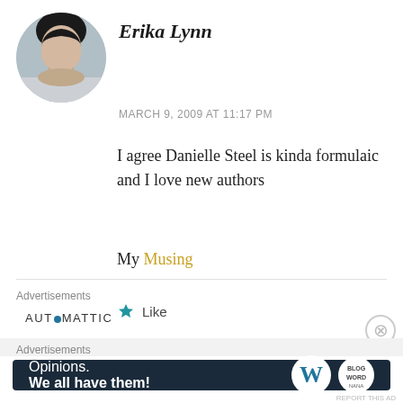[Figure (photo): Circular avatar photo of a young woman with dark hair, smiling, against a light background]
Erika Lynn
MARCH 9, 2009 AT 11:17 PM
I agree Danielle Steel is kinda formulaic and I love new authors
My Musing
Like
Advertisements
AUTOMATTIC
Advertisements
[Figure (screenshot): WordPress advertisement banner: dark navy background with white text 'Opinions. We all have them!' with WordPress logo and another circular logo on the right]